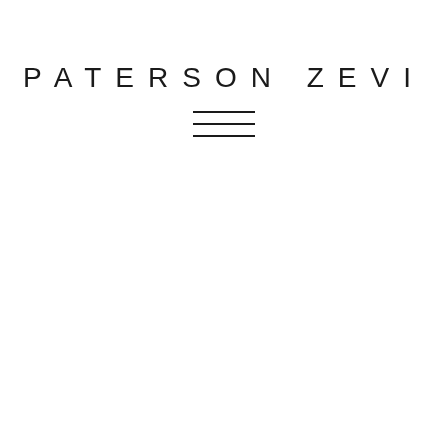PATERSON ZEVI
[Figure (other): Hamburger menu icon with three horizontal parallel lines]